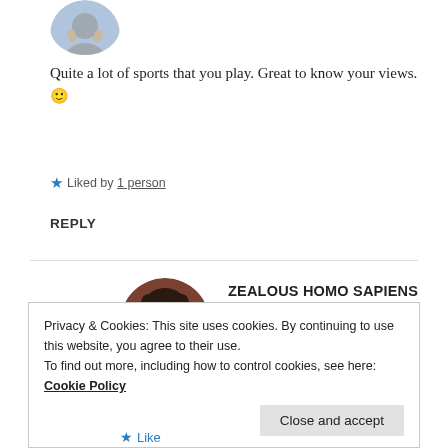[Figure (photo): Partial avatar image at top, cropped circle showing a person]
Quite a lot of sports that you play. Great to know your views. 🙂
★ Liked by 1 person
REPLY
[Figure (photo): Round avatar of Zealous Homo Sapiens — dark-haired person in brownish tones]
ZEALOUS HOMO SAPIENS
31 Mar 2019 at 10:47 pm
Privacy & Cookies: This site uses cookies. By continuing to use this website, you agree to their use.
To find out more, including how to control cookies, see here: Cookie Policy
Close and accept